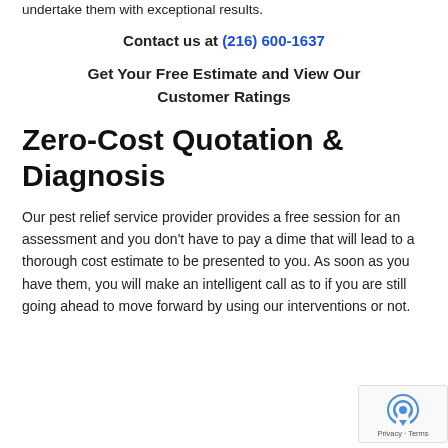undertake them with exceptional results.
Contact us at (216) 600-1637
Get Your Free Estimate and View Our Customer Ratings
Zero-Cost Quotation & Diagnosis
Our pest relief service provider provides a free session for an assessment and you don't have to pay a dime that will lead to a thorough cost estimate to be presented to you. As soon as you have them, you will make an intelligent call as to if you are still going ahead to move forward by using our interventions or not.